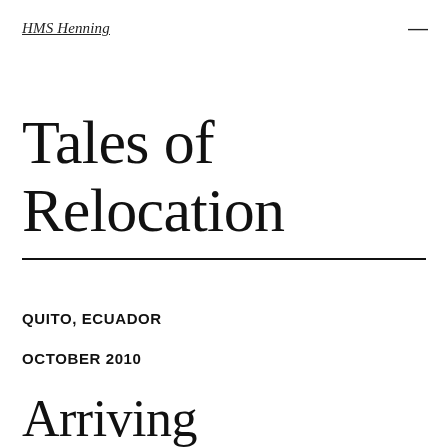HMS Henning
Tales of Relocation
QUITO, ECUADOR
OCTOBER 2010
Arriving